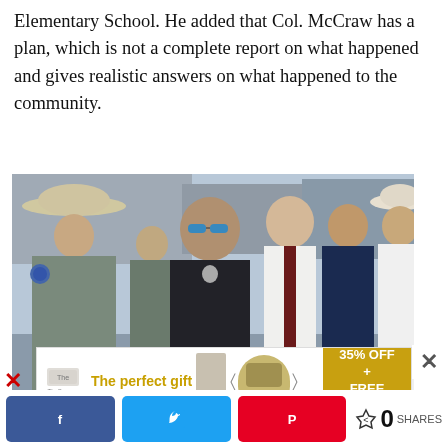Elementary School. He added that Col. McCraw has a plan, which is not a complete report on what happened and gives realistic answers on what happened to the community.
[Figure (photo): Group of law enforcement officers and officials standing outdoors in bright sunlight. On the left are two officers in gray uniforms with Texas DPS patches and cowboy hats. In the center is a larger officer in a black police uniform with sunglasses. To the right are individuals in business attire including a white shirt with a dark tie, a navy suit, and a white hat.]
The perfect gift  35% OFF + FREE SHIPPING
0 SHARES